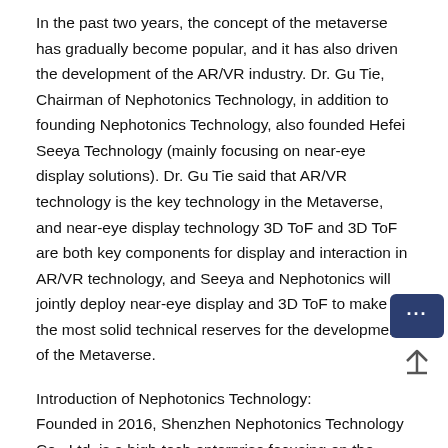In the past two years, the concept of the metaverse has gradually become popular, and it has also driven the development of the AR/VR industry. Dr. Gu Tie, Chairman of Nephotonics Technology, in addition to founding Nephotonics Technology, also founded Hefei Seeya Technology (mainly focusing on near-eye display solutions). Dr. Gu Tie said that AR/VR technology is the key technology in the Metaverse, and near-eye display technology 3D ToF and 3D ToF are both key components for display and interaction in AR/VR technology, and Seeya and Nephotonics will jointly deploy near-eye display and 3D ToF to make the most solid technical reserves for the development of the Metaverse.
Introduction of Nephotonics Technology:
Founded in 2016, Shenzhen Nephotonics Technology Co., Ltd. is a high-tech enterprise focusing on the research and development of 3D ToF chips and vision solutions. It is headquartered in Shenzhen, China, and has established R&D centers in Shanghai, China and Oregon, USA. The company's core technology covers i-ToF and d